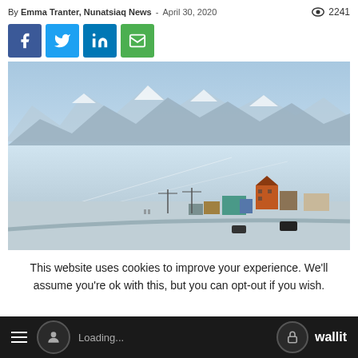By Emma Tranter, Nunatsiaq News - April 30, 2020  👁 2241
[Figure (other): Social share buttons: Facebook, Twitter, LinkedIn, Email]
[Figure (photo): Aerial view of a small Arctic community with colorful buildings in the foreground, a vast frozen sea in the middle ground, and snow-capped mountains in the background under a clear blue sky.]
This website uses cookies to improve your experience. We'll assume you're ok with this, but you can opt-out if you wish.
≡  Loading...  🔒 wallit